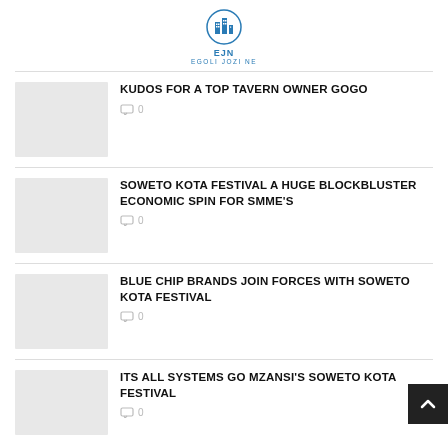EJN EGOLI JOZI NE
KUDOS FOR A TOP TAVERN OWNER GOGO
0
SOWETO KOTA FESTIVAL A HUGE BLOCKBLUSTER ECONOMIC SPIN FOR SMME'S
0
BLUE CHIP BRANDS JOIN FORCES WITH SOWETO KOTA FESTIVAL
0
ITS ALL SYSTEMS GO MZANSI'S SOWETO KOTA FESTIVAL
0